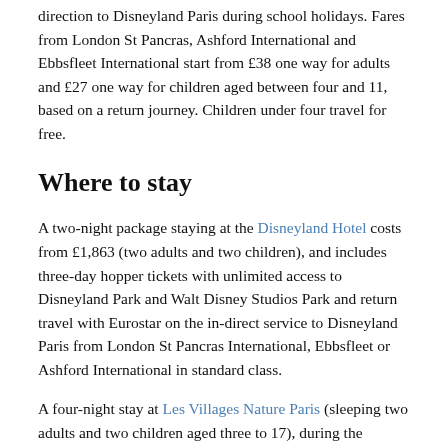direction to Disneyland Paris during school holidays. Fares from London St Pancras, Ashford International and Ebbsfleet International start from £38 one way for adults and £27 one way for children aged between four and 11, based on a return journey. Children under four travel for free.
Where to stay
A two-night package staying at the Disneyland Hotel costs from £1,863 (two adults and two children), and includes three-day hopper tickets with unlimited access to Disneyland Park and Walt Disney Studios Park and return travel with Eurostar on the in-direct service to Disneyland Paris from London St Pancras International, Ebbsfleet or Ashford International in standard class.
A four-night stay at Les Villages Nature Paris (sleeping two adults and two children aged three to 17), during the summer holidays costs from £1,092 per family.